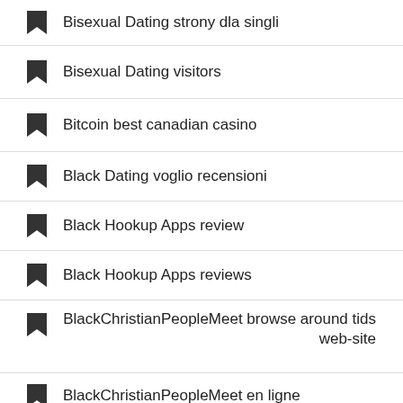Bisexual Dating strony dla singli
Bisexual Dating visitors
Bitcoin best canadian casino
Black Dating voglio recensioni
Black Hookup Apps review
Black Hookup Apps reviews
BlackChristianPeopleMeet browse around tids web-site
BlackChristianPeopleMeet en ligne